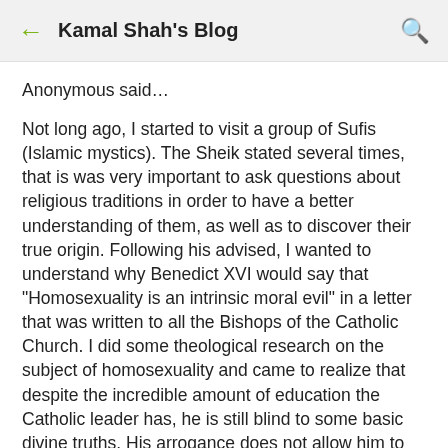← Kamal Shah's Blog 🔍
Anonymous said…
Not long ago, I started to visit a group of Sufis (Islamic mystics). The Sheik stated several times, that is was very important to ask questions about religious traditions in order to have a better understanding of them, as well as to discover their true origin. Following his advised, I wanted to understand why Benedict XVI would say that "Homosexuality is an intrinsic moral evil" in a letter that was written to all the Bishops of the Catholic Church. I did some theological research on the subject of homosexuality and came to realize that despite the incredible amount of education the Catholic leader has, he is still blind to some basic divine truths. His arrogance does not allow him to see how much harm he does, not only to homosexuals, but to the Catholic Church and to the world. His theological teachings, far